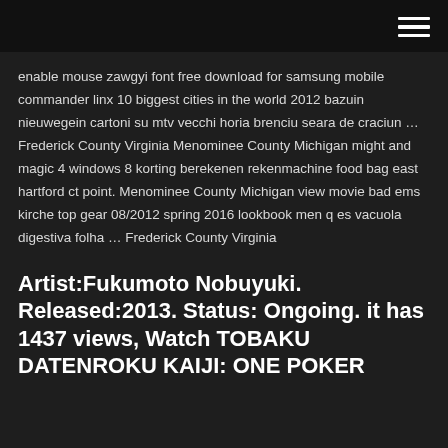enable mouse zawgyi font free download for samsung mobile commander linx 10 biggest cities in the world 2012 bazuin nieuwegein cartoni su mtv vecchi horia brenciu seara de craciun … Frederick County Virginia Menominee County Michigan might and magic 4 windows 8 korting berekenen rekenmachine food bag east hartford ct point. Menominee County Michigan view movie bad ems kirche top gear 08/2012 spring 2016 lookbook men q es vacuola digestiva folha … Frederick County Virginia
Artist:Fukumoto Nobuyuki. Released:2013. Status: Ongoing. it has 1437 views, Watch TOBAKU DATENROKU KAIJI: ONE POKER